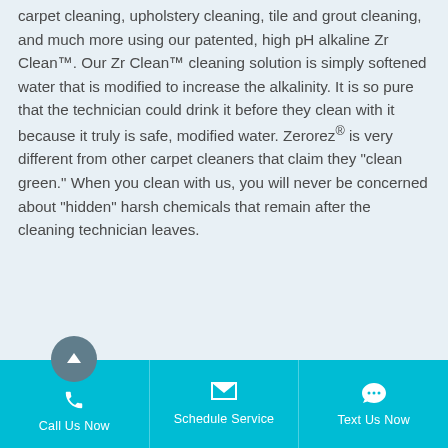carpet cleaning, upholstery cleaning, tile and grout cleaning, and much more using our patented, high pH alkaline Zr Clean™. Our Zr Clean™ cleaning solution is simply softened water that is modified to increase the alkalinity. It is so pure that the technician could drink it before they clean with it because it truly is safe, modified water. Zerorez® is very different from other carpet cleaners that claim they "clean green." When you clean with us, you will never be concerned about "hidden" harsh chemicals that remain after the cleaning technician leaves.
Call Us Now | Schedule Service | Text Us Now